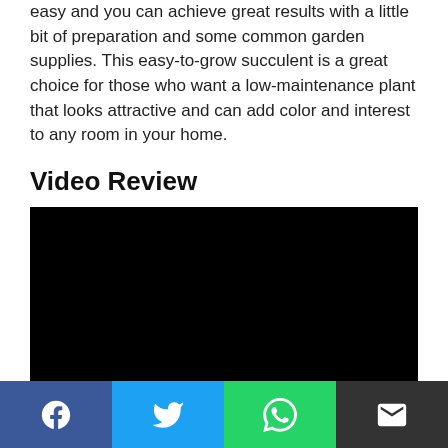easy and you can achieve great results with a little bit of preparation and some common garden supplies. This easy-to-grow succulent is a great choice for those who want a low-maintenance plant that looks attractive and can add color and interest to any room in your home.
Video Review
[Figure (other): Black video player embed area]
[Figure (other): Social sharing bar with Facebook, Twitter, WhatsApp, and Email buttons]